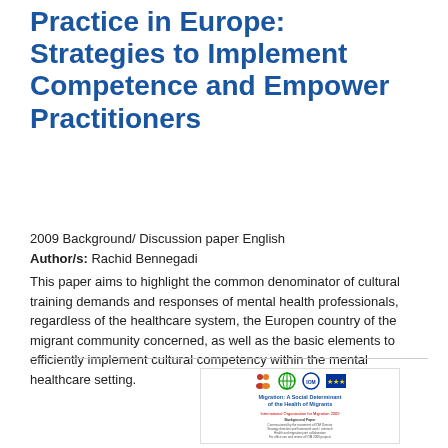Training in Mental Health Practice in Europe: Strategies to Implement Competence and Empower Practitioners
2009 Background/ Discussion paper English
Author/s: Rachid Bennegadi
This paper aims to highlight the common denominator of cultural training demands and responses of mental health professionals, regardless of the healthcare system, the Europen country of the migrant community concerned, as well as the basic elements to efficiently implement cultural competency within the mental healthcare setting.
[Figure (other): Thumbnail cover image of a document titled 'Migration: A Social Determinant of the Health of Migrants' with logos of organizations including WHO, IOM, and EU flag]